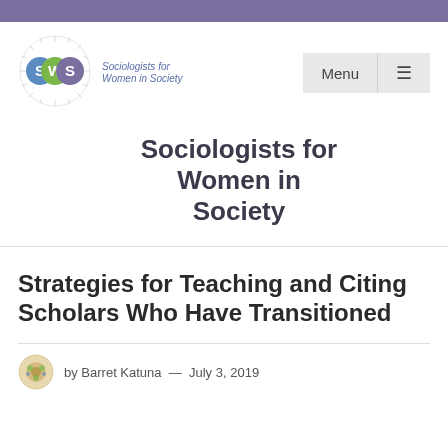[Figure (logo): Sociologists for Women in Society (SWS) logo with circular badge showing S, W, S letters in colored circles and decorative ring]
Sociologists for Women in Society
Strategies for Teaching and Citing Scholars Who Have Transitioned
by Barret Katuna — July 3, 2019